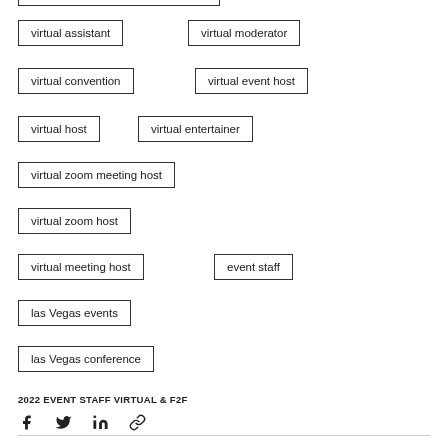virtual assistant
virtual moderator
virtual convention
virtual event host
virtual host
virtual entertainer
virtual zoom meeting host
virtual zoom host
virtual meeting host
event staff
las Vegas events
las Vegas conference
2022 EVENT STAFF VIRTUAL & F2F
[Figure (infographic): Social share icons: Facebook, Twitter, LinkedIn, Link]